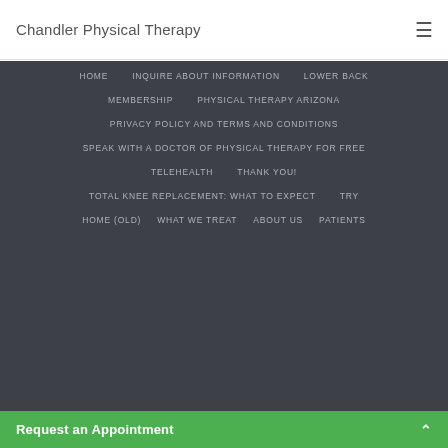Chandler Physical Therapy
HOME
INQUIRE ABOUT INFORMATION
LOWER BACK
MEMBERSHIP
PHYSICAL THERAPY ARIZONA
PRIVACY POLICY AND TERMS AND CONDITIONS
SPEAK WITH A DOCTOR OF PHYSICAL THERAPY FOR FREE
TELEHEALTH
THANK YOU!
TOTAL KNEE REPLACEMENT: WHAT TO EXPECT
TRY
HOME (OLD)
WHAT WE TREAT
ABOUT US
PATIENTS
Request an Appointment